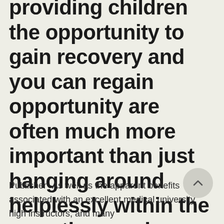providing children the opportunity to gain recovery and you can regain opportunity are often much more important than just hanging around helplessly within the an active ward
Publisher -As well as the apparent benefits associated with an excellent medical university, high instructors, and many